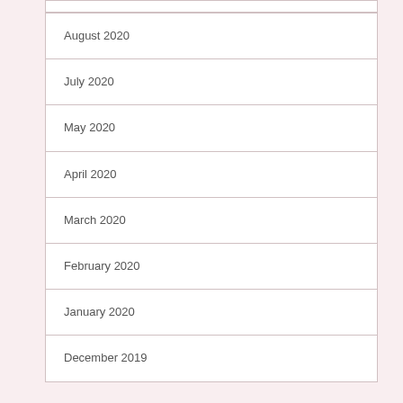September 2020
August 2020
July 2020
May 2020
April 2020
March 2020
February 2020
January 2020
December 2019